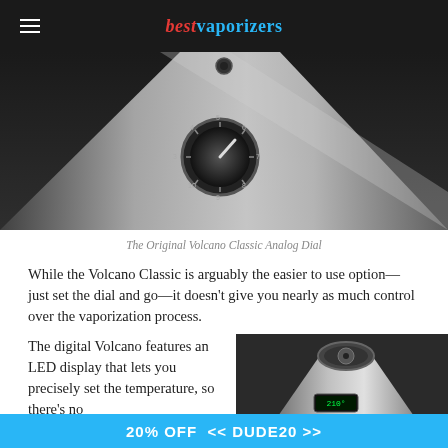best vaporizers
[Figure (photo): Close-up of the Volcano Classic analog dial on a silver metallic cone-shaped vaporizer body, dark background.]
The Original Volcano Classic Analog Dial
While the Volcano Classic is arguably the easier to use option—just set the dial and go—it doesn't give you nearly as much control over the vaporization process.
The digital Volcano features an LED display that lets you precisely set the temperature, so there's no
[Figure (photo): Close-up of the top of a Volcano digital vaporizer showing the mesh bowl and LED display on the side, metallic chrome finish.]
20% OFF  << DUDE20 >>